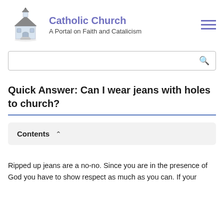Catholic Church — A Portal on Faith and Catalicism
Quick Answer: Can I wear jeans with holes to church?
Contents
Ripped up jeans are a no-no. Since you are in the presence of God you have to show respect as much as you can. If your